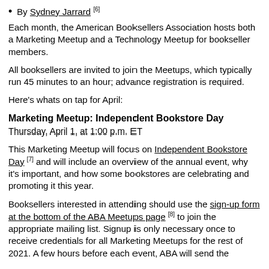By Sydney Jarrard [6]
Each month, the American Booksellers Association hosts both a Marketing Meetup and a Technology Meetup for bookseller members.
All booksellers are invited to join the Meetups, which typically run 45 minutes to an hour; advance registration is required.
Here's whats on tap for April:
Marketing Meetup: Independent Bookstore Day
Thursday, April 1, at 1:00 p.m. ET
This Marketing Meetup will focus on Independent Bookstore Day [7] and will include an overview of the annual event, why it's important, and how some bookstores are celebrating and promoting it this year.
Booksellers interested in attending should use the sign-up form at the bottom of the ABA Meetups page [8] to join the appropriate mailing list. Signup is only necessary once to receive credentials for all Marketing Meetups for the rest of 2021. A few hours before each event, ABA will send the